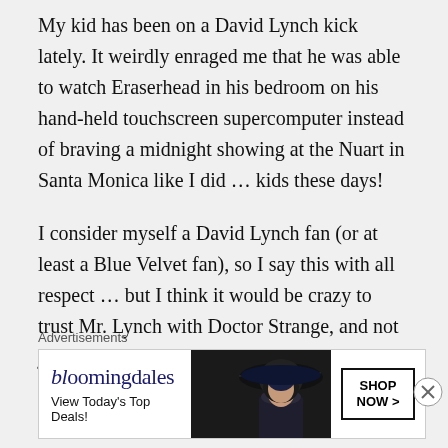My kid has been on a David Lynch kick lately. It weirdly enraged me that he was able to watch Eraserhead in his bedroom on his hand-held touchscreen supercomputer instead of braving a midnight showing at the Nuart in Santa Monica like I did … kids these days!
I consider myself a David Lynch fan (or at least a Blue Velvet fan), so I say this with all respect … but I think it would be crazy to trust Mr. Lynch with Doctor Strange, and not just because his track record with
Advertisements
[Figure (other): Bloomingdale's advertisement banner with logo, 'View Today's Top Deals!' tagline, image of woman with wide-brimmed hat, and 'SHOP NOW >' button]